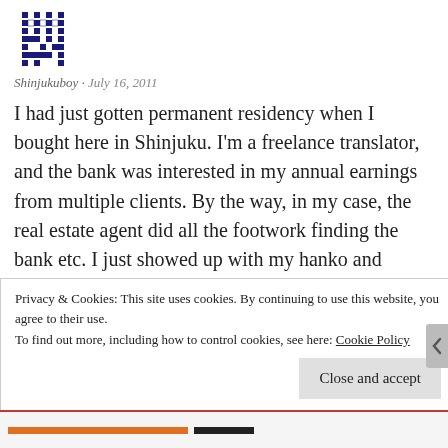[Figure (illustration): Pixel art avatar icon in dark blue/navy, resembling a blocky grid-based character or QR-code-like image]
Shinjukuboy · July 16, 2011
I had just gotten permanent residency when I bought here in Shinjuku. I'm a freelance translator, and the bank was interested in my annual earnings from multiple clients. By the way, in my case, the real estate agent did all the footwork finding the bank etc. I just showed up with my hanko and stamped the loan contract. The place was new and in Shinjuku so that may have been encouraging to the bank.
Privacy & Cookies: This site uses cookies. By continuing to use this website, you agree to their use.
To find out more, including how to control cookies, see here: Cookie Policy
Close and accept